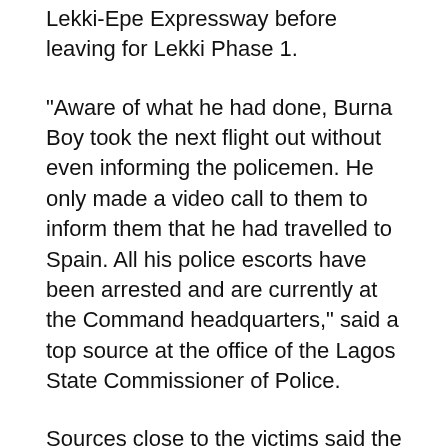Lekki-Epe Expressway before leaving for Lekki Phase 1.
“Aware of what he had done, Burna Boy took the next flight out without even informing the policemen. He only made a video call to them to inform them that he had travelled to Spain. All his police escorts have been arrested and are currently at the Command headquarters,” said a top source at the office of the Lagos State Commissioner of Police.
Sources close to the victims said the police were already making attempts to protect Burna Boy because of his status while the victims were treating their wounds at the Lagos State University Teaching Hospital, Ikeja.
In a chat with Sunday Scoop, a brother to the victim, who identified himself only as Iide, said his brother